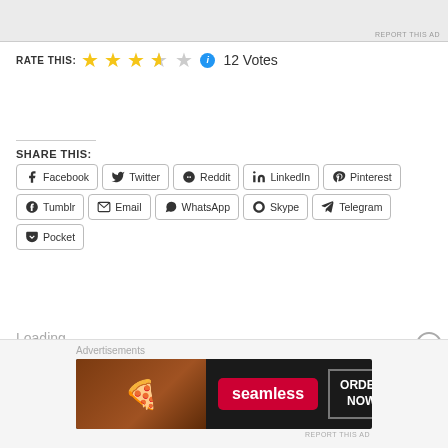[Figure (screenshot): Top advertisement banner with profile images, partially visible at top of page. 'REPORT THIS AD' text at bottom right.]
RATE THIS: ★★★★☆ ℹ 12 Votes
SHARE THIS:
Facebook  Twitter  Reddit  LinkedIn  Pinterest  Tumblr  Email  WhatsApp  Skype  Telegram  Pocket
Loading...
[Figure (screenshot): Seamless food delivery advertisement banner showing pizza image with 'seamless' red badge and 'ORDER NOW' button.]
Advertisements